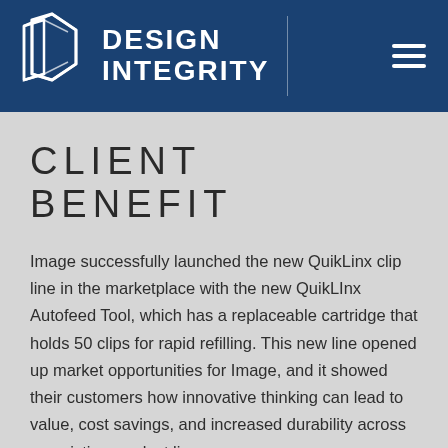DESIGN INTEGRITY
CLIENT BENEFIT
Image successfully launched the new QuikLinx clip line in the marketplace with the new QuikLInx Autofeed Tool, which has a replaceable cartridge that holds 50 clips for rapid refilling. This new line opened up market opportunities for Image, and it showed their customers how innovative thinking can lead to value, cost savings, and increased durability across an existing product line.